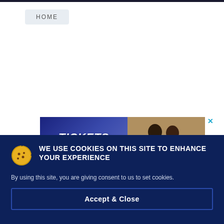HOME
[Figure (screenshot): Advertisement banner showing 'TICKETS ON SALE' text over a dark blue diagonal stripe background, with soccer players visible on the right side. A cyan X close button appears at top right of the ad.]
WE USE COOKIES ON THIS SITE TO ENHANCE YOUR EXPERIENCE
By using this site, you are giving consent to us to set cookies.
Accept & Close